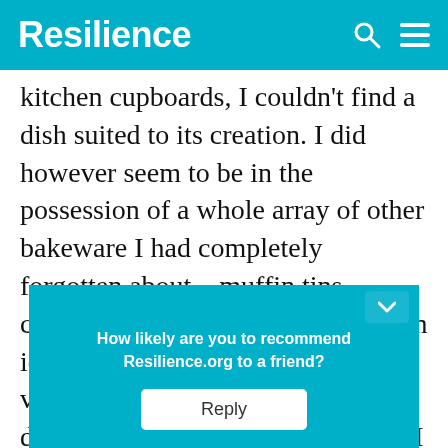Resilience
kitchen cupboards, I couldn't find a dish suited to its creation. I did however seem to be in the possession of a whole array of other bakeware I had completely forgotten about – muffin tins, chocolate moulds, cookie cutters, an ice cream maker, a flan mould and various baking tins – but no soufflé dish among them. I concluded that I must make soufflés more frequently than I ... cream ... those.
How likely are you to recommend Resilience.org to a friend? Reply